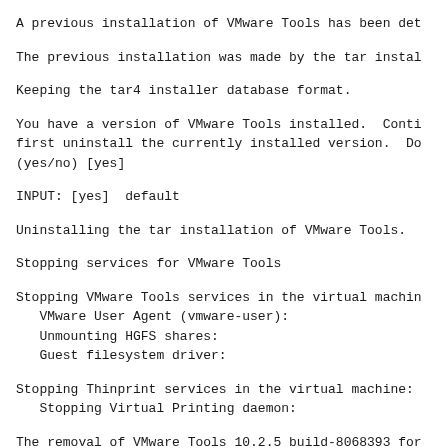A previous installation of VMware Tools has been det
The previous installation was made by the tar instal
Keeping the tar4 installer database format.
You have a version of VMware Tools installed.  Conti
first uninstall the currently installed version.  Do
(yes/no) [yes]
INPUT: [yes]  default
Uninstalling the tar installation of VMware Tools.
Stopping services for VMware Tools
Stopping VMware Tools services in the virtual machin
    VMware User Agent (vmware-user):
    Unmounting HGFS shares:
    Guest filesystem driver:
Stopping Thinprint services in the virtual machine:
    Stopping Virtual Printing daemon:
The removal of VMware Tools 10.2.5 build-8068393 for